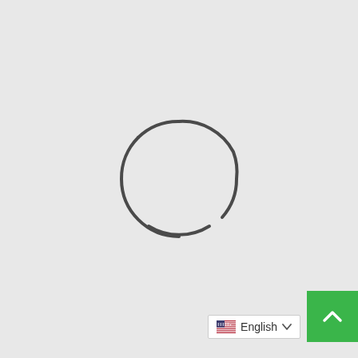[Figure (other): A loading spinner icon — three arcs arranged in a near-circle on a light gray background, indicating a loading state. The arcs are dark gray strokes with small gaps between them.]
[Figure (screenshot): Bottom-right UI elements: a green square back-to-top button with a white upward chevron arrow, and a white language selector dropdown showing a US flag icon and the text 'English' with a downward chevron.]